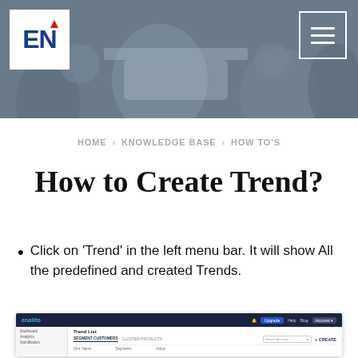[Figure (screenshot): Hero banner with team photo background and EN logo with red arrow on top left, and hamburger menu icon on top right]
HOME › KNOWLEDGE BASE › HOW TO'S
How to Create Trend?
Click on 'Trend' in the left menu bar. It will show All the predefined and created Trends.
[Figure (screenshot): Screenshot of enalito application showing Trend List page with navigation sidebar, tabs for SEGMENT CUSTOMERS and CLUSTER PRODUCTS, search bar, and + CREATE button]